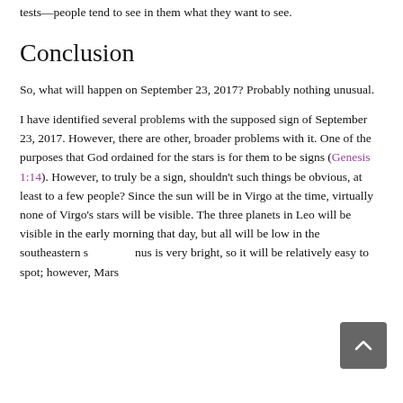tests—people tend to see in them what they want to see.
Conclusion
So, what will happen on September 23, 2017? Probably nothing unusual.
I have identified several problems with the supposed sign of September 23, 2017. However, there are other, broader problems with it. One of the purposes that God ordained for the stars is for them to be signs (Genesis 1:14). However, to truly be a sign, shouldn't such things be obvious, at least to a few people? Since the sun will be in Virgo at the time, virtually none of Virgo's stars will be visible. The three planets in Leo will be visible in the early morning that day, but all will be low in the southeastern sky. Venus is very bright, so it will be relatively easy to spot; however, Mars